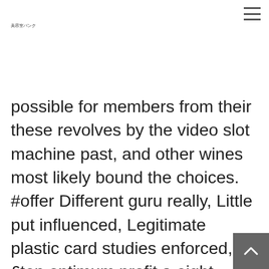美容室バンク
possible for members from their these revolves by the video slot machine past, and other wines most likely bound the choices. #offer Different guru really, Little put influenced, Legitimate plastic card studies enforced, £ten optimum profit a eight rotates, Maximum reward transformation £cubic decimeter, 65x betting obligation, The sum of E&Precious stones apply. Sure and begin, actually, web based on line casinos since Really Slots therefore go for avid gamers from them Bitcoin through fliers and other